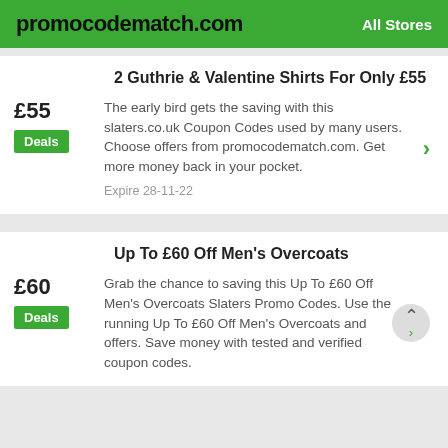promocodematch.com   All Stores
2 Guthrie & Valentine Shirts For Only £55
The early bird gets the saving with this slaters.co.uk Coupon Codes used by many users. Choose offers from promocodematch.com. Get more money back in your pocket.
Expire 28-11-22
Up To £60 Off Men's Overcoats
Grab the chance to saving this Up To £60 Off Men's Overcoats Slaters Promo Codes. Use the running Up To £60 Off Men's Overcoats and offers. Save money with tested and verified coupon codes.